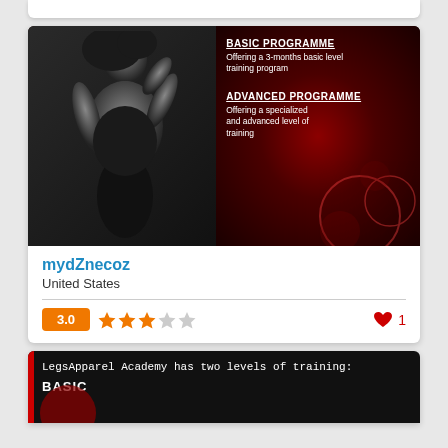[Figure (photo): Fashion/model image split: left side shows a black and white photo of a woman in stylish dark outfit; right side has dark red background with text about Basic Programme and Advanced Programme for LegsApparel Academy training]
mydZnecoz
United States
3.0 ★★★☆☆  ♥ 1
[Figure (photo): Bottom card showing LegsApparel Academy has two levels of training: BASIC, on dark background with red accent bar on left]